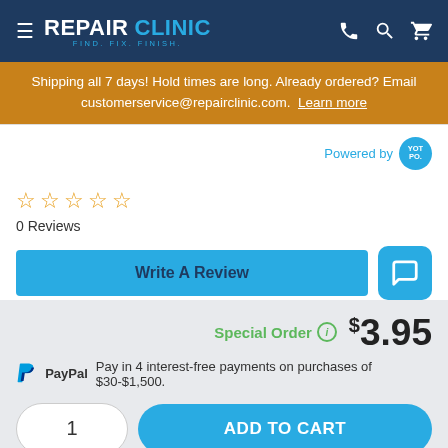REPAIR CLINIC - FIND. FIX. FINISH.
Shipping all 7 days! Hold times are long. Already ordered? Email customerservice@repairclinic.com. Learn more
Powered by YOT PO.
0 Reviews
Write A Review
Special Order  $3.95
PayPal Pay in 4 interest-free payments on purchases of $30-$1,500.
1
ADD TO CART